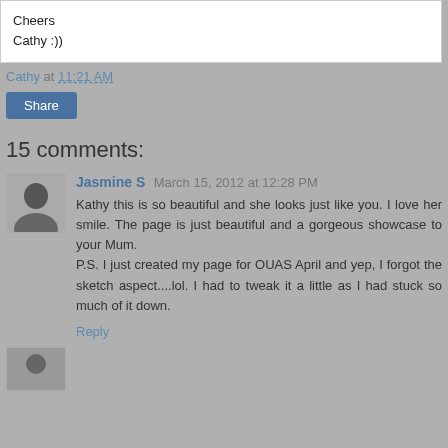Cheers
Cathy :))
Cathy at 11:21 AM
Share
15 comments:
Jasmine S March 15, 2012 at 12:28 PM
Kathy this is so beautiful and she looks just like you. I love her smile. The page is just beautiful and a gorgeous showcase to your Mum.
P.S. I just created my page for OUAS April and yep, I forgot the sketch aspect....lol. I had to tweak it a little as I had stuck so much of it down.
Reply